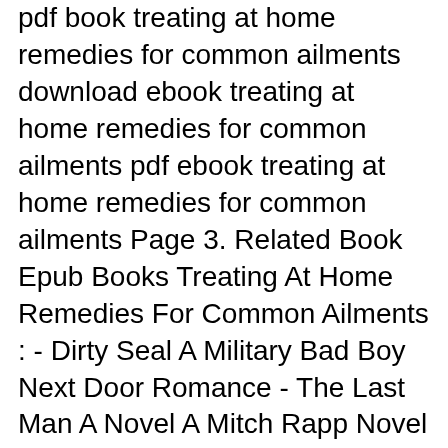pdf book treating at home remedies for common ailments download ebook treating at home remedies for common ailments pdf ebook treating at home remedies for common ailments Page 3. Related Book Epub Books Treating At Home Remedies For Common Ailments : - Dirty Seal A Military Bad Boy Next Door Romance - The Last Man A Novel A Mitch Rapp Novel - All He Needs Ace And Stephanie ... The high-pitched whistling sound when exhaling can be alleviated with simple home remedies. But for the treatment to be successful, it is essential to find out the underlying cause and treat it. But for the treatment to be successful, it is essential to find out the underlying cause and treat it.